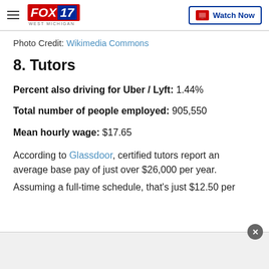FOX 17 WEST MICHIGAN — Watch Now
Photo Credit: Wikimedia Commons
8. Tutors
Percent also driving for Uber / Lyft: 1.44%
Total number of people employed: 905,550
Mean hourly wage: $17.65
According to Glassdoor, certified tutors report an average base pay of just over $26,000 per year.
Assuming a full-time schedule, that's just $12.50 per...